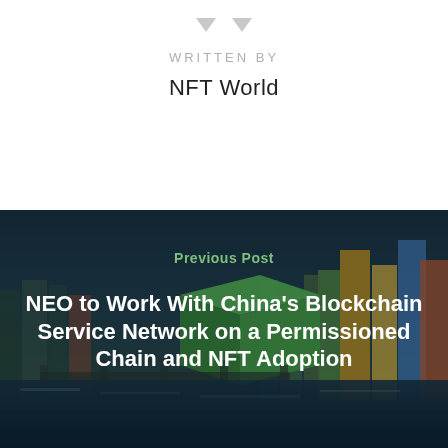[Figure (illustration): Two downward-pointing gray arrows at the top of the page]
WRITTEN BY
NFT World
[Figure (photo): Background photo of a Chinese city skyline at dusk with buildings and a river, overlaid with a green 3D cube/block representing blockchain, with a dark overlay. Contains 'Previous Post' label and article title text.]
Previous Post
NEO to Work With China's Blockchain Service Network on a Permissioned Chain and NFT Adoption